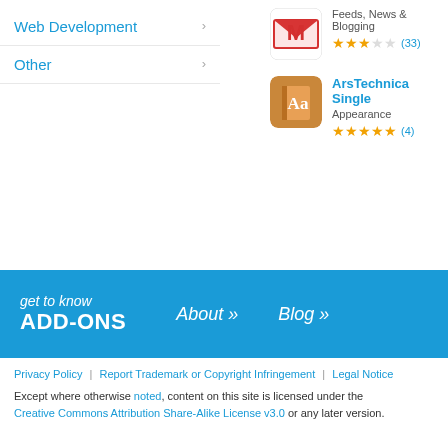Web Development
Other
[Figure (screenshot): Gmail-style red M envelope icon for an addon in Feeds, News & Blogging category, rated 2.5 stars out of 5 with 33 reviews]
Feeds, News & Blogging ★★★☆☆ (33)
[Figure (screenshot): ArsTechnica Single orange dictionary/book icon for Appearance addon, rated 5 stars with 4 reviews]
ArsTechnica Single Appearance ★★★★★ (4)
get to know ADD-ONS  About »  Blog »
Privacy Policy | Report Trademark or Copyright Infringement | Legal Notice  Except where otherwise noted, content on this site is licensed under the Creative Commons Attribution Share-Alike License v3.0 or any later version.